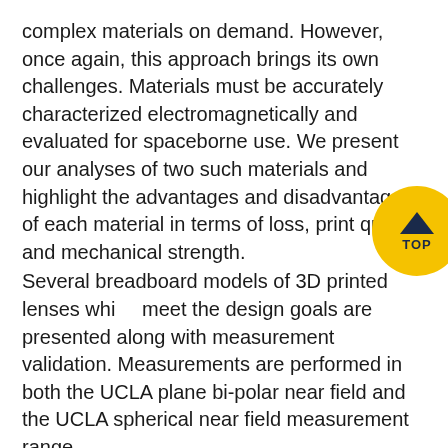complex materials on demand. However, once again, this approach brings its own challenges. Materials must be accurately characterized electromagnetically and evaluated for spaceborne use. We present our analyses of two such materials and highlight the advantages and disadvantages of each material in terms of loss, print quality, and mechanical strength.
Several breadboard models of 3D printed lenses which meet the design goals are presented along with measurement validation. Measurements are performed in both the UCLA plane bi-polar near field and the UCLA spherical near field measurement range.
Also presented is recent work on reflectarray antennas for CubeSat applications. To obtain the design of the reflectarray antenna system, complex computer codes must be developed. These codes are based on the SDMoM employing the Infinite Array Analysis Technique